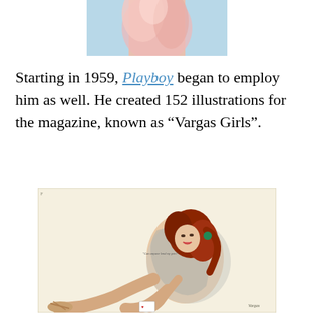[Figure (illustration): Partial image of a woman in a pink dress, cropped at the top of the page, showing the lower body in a light blue and pink flowing garment.]
Starting in 1959, Playboy began to employ him as well. He created 152 illustrations for the magazine, known as “Vargas Girls”.
[Figure (illustration): A Vargas Girl illustration showing a seated red-haired woman in a sheer grey dress, reaching toward her foot near a playing card on the floor. Cream background with the artist's signature in the corner.]